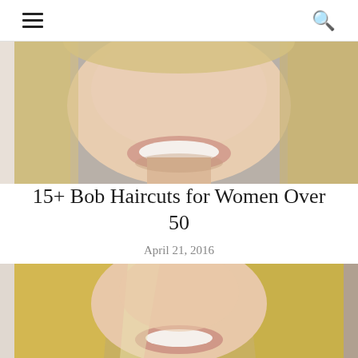≡  🔍
[Figure (photo): Top portion of a woman's face showing a blonde bob haircut, smiling, photographed at close range]
15+ Bob Haircuts for Women Over 50
April 21, 2016
[Figure (photo): A smiling blonde woman with long straight hair, photographed from slightly above, warm expression]